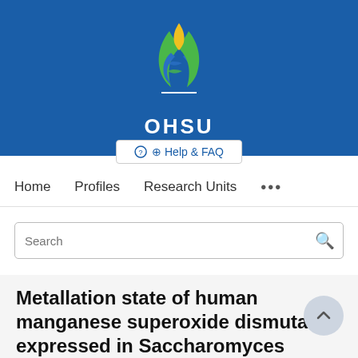[Figure (logo): OHSU logo with DNA helix and flame design on blue background, with OHSU text in white]
Help & FAQ
Home   Profiles   Research Units   ...
Search
Metallation state of human manganese superoxide dismutase expressed in Saccharomyces cerevisiae